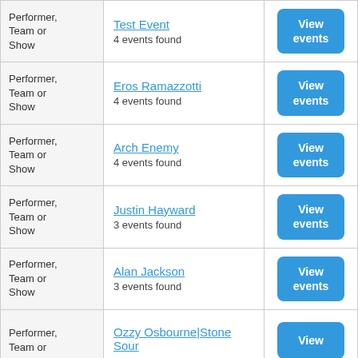| Type | Name / Events | Action |
| --- | --- | --- |
| Performer, Team or Show | Test Event
4 events found | View events |
| Performer, Team or Show | Eros Ramazzotti
4 events found | View events |
| Performer, Team or Show | Arch Enemy
4 events found | View events |
| Performer, Team or Show | Justin Hayward
3 events found | View events |
| Performer, Team or Show | Alan Jackson
3 events found | View events |
| Performer, Team or Show | Ozzy Osbourne|Stone Sour
(partial) | View |